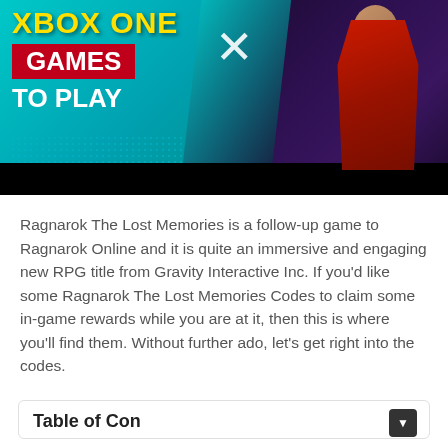[Figure (screenshot): Gaming article thumbnail showing 'XBOX ONE GAMES TO PLAY' text on teal background on the left, a large white X in the center, and a character in a red coat on a dark purple background on the right. Black bar at the bottom.]
Ragnarok The Lost Memories is a follow-up game to Ragnarok Online and it is quite an immersive and engaging new RPG title from Gravity Interactive Inc. If you'd like some Ragnarok The Lost Memories Codes to claim some in-game rewards while you are at it, then this is where you'll find them. Without further ado, let's get right into the codes.
Table of Contents